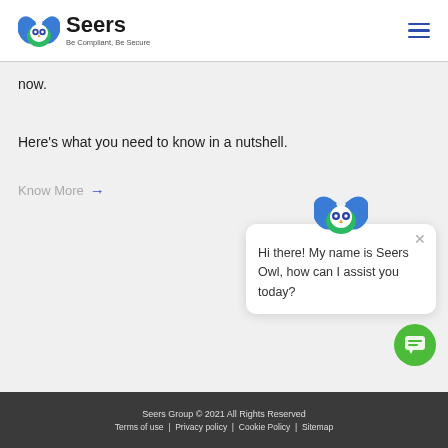Seers — Be Compliant, Be Secure
now.
Here's what you need to know in a nutshell.
Know More →
[Figure (screenshot): Seers Owl chatbot popup with message: Hi there! My name is Seers Owl, how can I assist you today?]
Seers Group © 2021 All Rights Reserved | Terms of use | Privacy policy | Cookie Policy | Sitemap